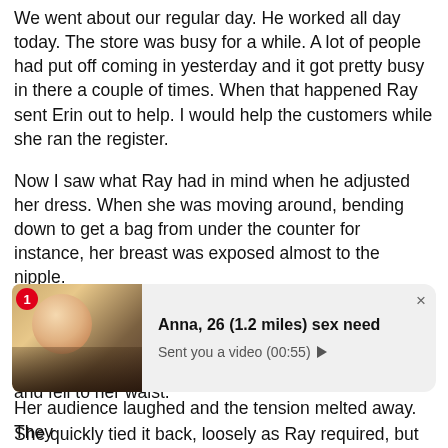We went about our regular day. He worked all day today. The store was busy for a while. A lot of people had put off coming in yesterday and it got pretty busy in there a couple of times. When that happened Ray sent Erin out to help. I would help the customers while she ran the register.
Now I saw what Ray had in mind when he adjusted her dress. When she was moving around, bending down to get a bag from under the counter for instance, her breast was exposed almost to the nipple.
A lot of men stayed around to talk after they made their purchases. Because they stayed they were there when the strap around her neck finally slipped loose and fell to her waist.
She quickly tied it back, loosely as Ray required, but not
[Figure (screenshot): Advertisement overlay showing a woman's photo on the left with a red notification badge showing '1', and a message bubble on the right reading 'Anna, 26 (1.2 miles) sex need' with 'Sent you a video (00:55)' and a play button. A close (X) button is visible.]
Her audience laughed and the tension melted away. They